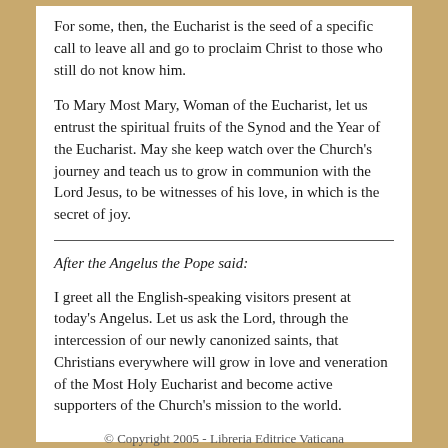For some, then, the Eucharist is the seed of a specific call to leave all and go to proclaim Christ to those who still do not know him.
To Mary Most Mary, Woman of the Eucharist, let us entrust the spiritual fruits of the Synod and the Year of the Eucharist. May she keep watch over the Church's journey and teach us to grow in communion with the Lord Jesus, to be witnesses of his love, in which is the secret of joy.
After the Angelus the Pope said:
I greet all the English-speaking visitors present at today's Angelus. Let us ask the Lord, through the intercession of our newly canonized saints, that Christians everywhere will grow in love and veneration of the Most Holy Eucharist and become active supporters of the Church's mission to the world.
© Copyright 2005 - Libreria Editrice Vaticana